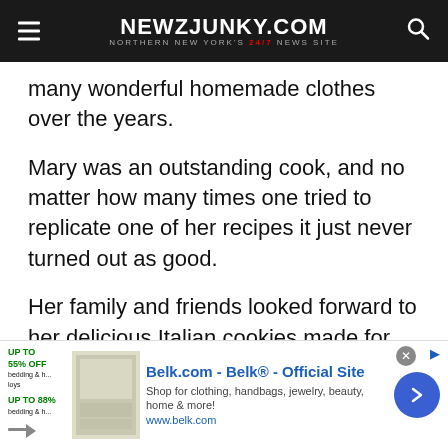NEWZJUNKY.COM — NORTHERN NEW YORK'S 24/7 NEWS SITE
many wonderful homemade clothes over the years.
Mary was an outstanding cook, and no matter how many times one tried to replicate one of her recipes it just never turned out as good.
Her family and friends looked forward to her delicious Italian cookies made for every holiday and special occasion. The time and effort she took in creating these cookie plates were something that brought great joy to those who
[Figure (other): Belk.com advertisement banner with product image and call to action]